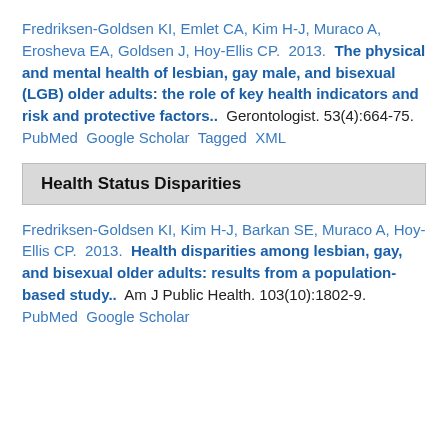Fredriksen-Goldsen KI, Emlet CA, Kim H-J, Muraco A, Erosheva EA, Goldsen J, Hoy-Ellis CP.  2013.  The physical and mental health of lesbian, gay male, and bisexual (LGB) older adults: the role of key health indicators and risk and protective factors..  Gerontologist. 53(4):664-75. PubMed  Google Scholar  Tagged  XML
Health Status Disparities
Fredriksen-Goldsen KI, Kim H-J, Barkan SE, Muraco A, Hoy-Ellis CP.  2013.  Health disparities among lesbian, gay, and bisexual older adults: results from a population-based study..  Am J Public Health. 103(10):1802-9. PubMed  Google Scholar